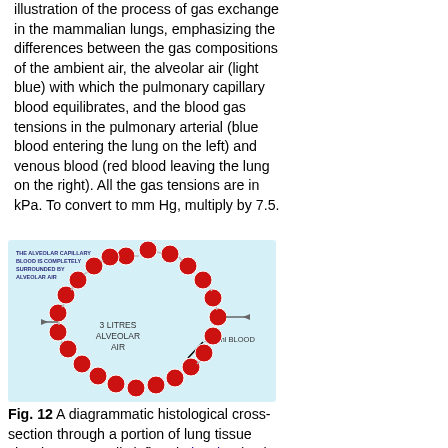illustration of the process of gas exchange in the mammalian lungs, emphasizing the differences between the gas compositions of the ambient air, the alveolar air (light blue) with which the pulmonary capillary blood equilibrates, and the blood gas tensions in the pulmonary arterial (blue blood entering the lung on the left) and venous blood (red blood leaving the lung on the right). All the gas tensions are in kPa. To convert to mm Hg, multiply by 7.5.
[Figure (illustration): A diagrammatic histological illustration showing alveolar capillary blood (red circles forming a chain/network) surrounded by alveolar air (light blue background). Text in image reads: 'THE ALVEOLAR CAPILLARY BLOOD IS COMPLETELY SURROUNDED BY ALVEOLAR AIR', '3 LITRES ALVEOLAR AIR', and '100 ml BLOOD' with an arrow pointing to one of the red circles.]
Fig. 12 A diagrammatic histological cross-section through a portion of lung tissue showing a normally inflated alveolus (at the end of a normal